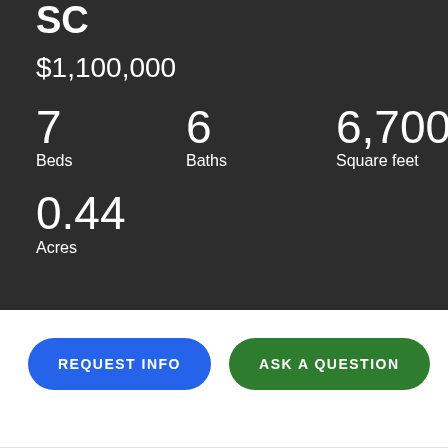SC
$1,100,000
7 Beds
6 Baths
6,700 Square feet
0.44 Acres
REQUEST INFO
ASK A QUESTION